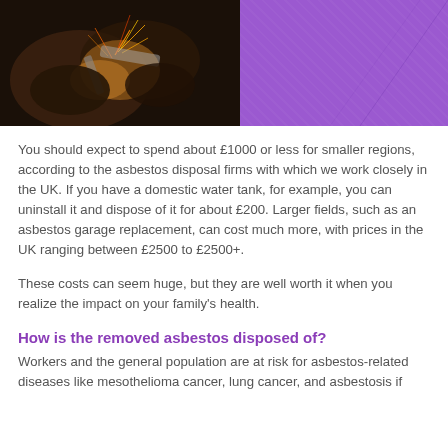[Figure (photo): Left half: dark photo of hands working with metal/tools with sparks flying. Right half: solid purple/violet fabric or background.]
You should expect to spend about £1000 or less for smaller regions, according to the asbestos disposal firms with which we work closely in the UK. If you have a domestic water tank, for example, you can uninstall it and dispose of it for about £200. Larger fields, such as an asbestos garage replacement, can cost much more, with prices in the UK ranging between £2500 to £2500+.
These costs can seem huge, but they are well worth it when you realize the impact on your family's health.
How is the removed asbestos disposed of?
Workers and the general population are at risk for asbestos-related diseases like mesothelioma cancer, lung cancer, and asbestosis if